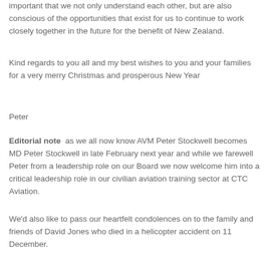important that we not only understand each other, but are also conscious of the opportunities that exist for us to continue to work closely together in the future for the benefit of New Zealand.
Kind regards to you all and my best wishes to you and your families for a very merry Christmas and prosperous New Year
Peter
Editorial note  as we all now know AVM Peter Stockwell becomes MD Peter Stockwell in late February next year and while we farewell Peter from a leadership role on our Board we now welcome him into a critical leadership role in our civilian aviation training sector at CTC Aviation.
We'd also like to pass our heartfelt condolences on to the family and friends of David Jones who died in a helicopter accident on 11 December.